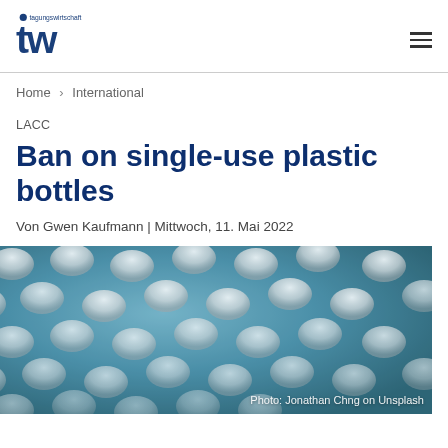tw tagungswirtschaft
Home > International
LACC
Ban on single-use plastic bottles
Von Gwen Kaufmann | Mittwoch, 11. Mai 2022
[Figure (photo): Close-up photo of many single-use plastic bottles with white caps, shot from above at slight angle, blue tint background. Photo credit: Jonathan Chng on Unsplash]